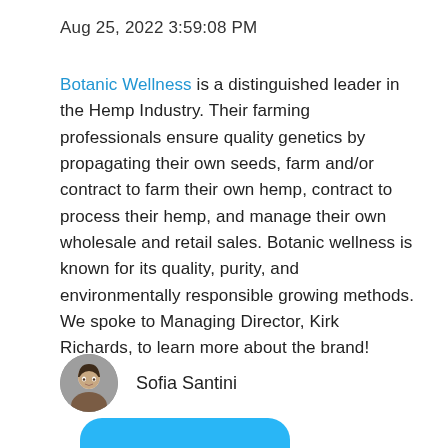Aug 25, 2022 3:59:08 PM
Botanic Wellness is a distinguished leader in the Hemp Industry. Their farming professionals ensure quality genetics by propagating their own seeds, farm and/or contract to farm their own hemp, contract to process their hemp, and manage their own wholesale and retail sales. Botanic wellness is known for its quality, purity, and environmentally responsible growing methods. We spoke to Managing Director, Kirk Richards, to learn more about the brand!
Sofia Santini